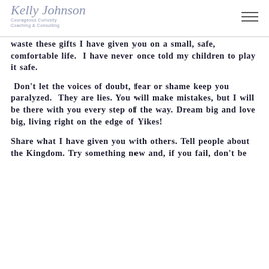Kelly Johnson Courageous Curiosity Coaching & Consulting
waste these gifts I have given you on a small, safe, comfortable life.  I have never once told my children to play it safe.
Don't let the voices of doubt, fear or shame keep you paralyzed.  They are lies. You will make mistakes, but I will be there with you every step of the way. Dream big and love big, living right on the edge of Yikes!
Share what I have given you with others. Tell people about the Kingdom. Try something new and, if you fail, don't be